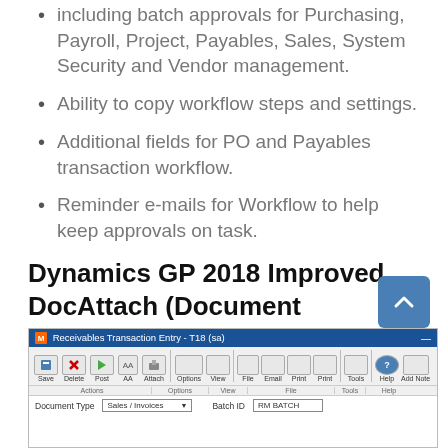Workflow now exists for almost all areas including batch approvals for Purchasing, Payroll, Project, Payables, Sales, System Security and Vendor management.
Ability to copy workflow steps and settings.
Additional fields for PO and Payables transaction workflow.
Reminder e-mails for Workflow to help keep approvals on task.
Dynamics GP 2018 Improved DocAttach (Document Attachment)
[Figure (screenshot): Screenshot of Receivables Transaction Entry - T18 (sa) window with toolbar showing Save, Delete, Post, AA, Attach, Options, View, File, Email, Print, Print, Tools, Help, Add Note buttons grouped under Actions, Options, View, File, Tools, Help. Bottom shows Document Type field with Sales/Invoices and Batch ID field with RM BATCH.]